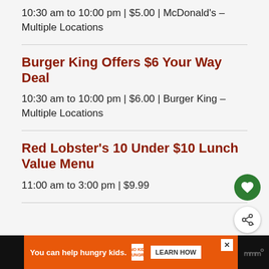10:30 am to 10:00 pm | $5.00 | McDonald's – Multiple Locations
Burger King Offers $6 Your Way Deal
10:30 am to 10:00 pm | $6.00 | Burger King – Multiple Locations
Red Lobster's 10 Under $10 Lunch Value Menu
11:00 am to 3:00 pm | $9.99
[Figure (other): Green circular heart favorite button and white circular share button on right side]
[Figure (other): Orange advertisement bar: 'You can help hungry kids. No Kid Hungry LEARN HOW' with close button and W logo on dark ends]